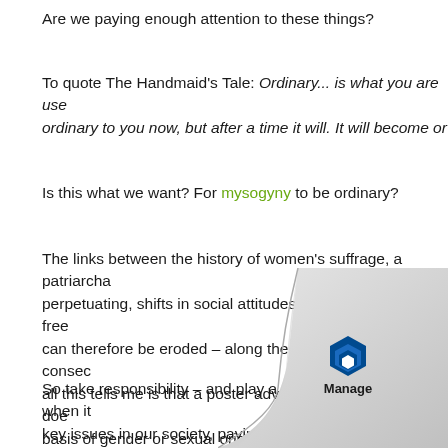Are we paying enough attention to these things?
To quote The Handmaid's Tale: Ordinary... is what you are used to. This may not seem ordinary to you now, but after a time it will. It will become ordinary.
Is this what we want? For mysogyny to be ordinary?
The links between the history of women's suffrage, a patriarchal system self-perpetuating, shifts in social attitudes, the ease with which freedoms and rights can therefore be eroded – along the possible attendant consequences of all this tells me is that a poster advocating that opportunity does not differ on the basis of gender or sexual orientation is, quite simply, misleading.
So take responsibility – and play a part, however small, when it comes to key issues in our society, paying particular attention to emancipation and solidarity.
[Figure (logo): Page curl with Manage logo in bottom right corner]